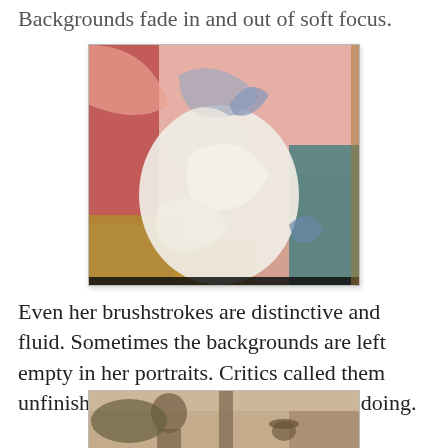Backgrounds fade in and out of soft focus.
[Figure (photo): An impressionist painting with loose, fluid brushstrokes showing a reclining or seated figure. Colors include pink, white, blue, and gold/yellow tones on a textured canvas.]
Even her brushstrokes are distinctive and fluid. Sometimes the backgrounds are left empty in her portraits. Critics called them unfinished but she knew what she was doing.
[Figure (photo): A sepia-toned historical photograph showing two people outdoors, partially visible at the bottom of the page.]